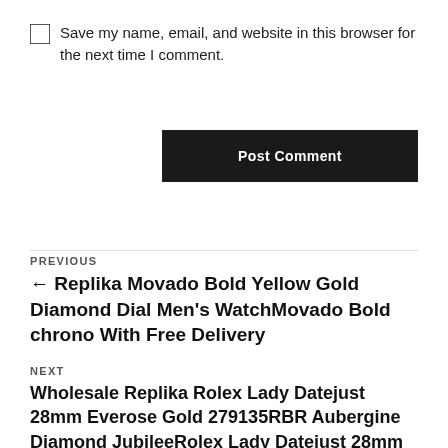Save my name, email, and website in this browser for the next time I comment.
Post Comment
PREVIOUS
← Replika Movado Bold Yellow Gold Diamond Dial Men's WatchMovado Bold chrono With Free Delivery
NEXT
Wholesale Replika Rolex Lady Datejust 28mm Everose Gold 279135RBR Aubergine Diamond JubileeRolex Lady Datejust 28mm Everose Gold